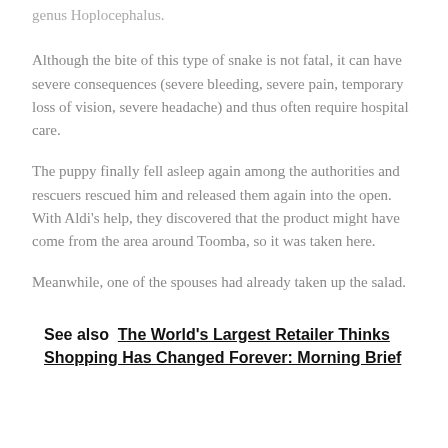genus Hoplocephalus.
Although the bite of this type of snake is not fatal, it can have severe consequences (severe bleeding, severe pain, temporary loss of vision, severe headache) and thus often require hospital care.
The puppy finally fell asleep again among the authorities and rescuers rescued him and released them again into the open. With Aldi's help, they discovered that the product might have come from the area around Toomba, so it was taken here.
Meanwhile, one of the spouses had already taken up the salad.
See also  The World's Largest Retailer Thinks Shopping Has Changed Forever: Morning Brief